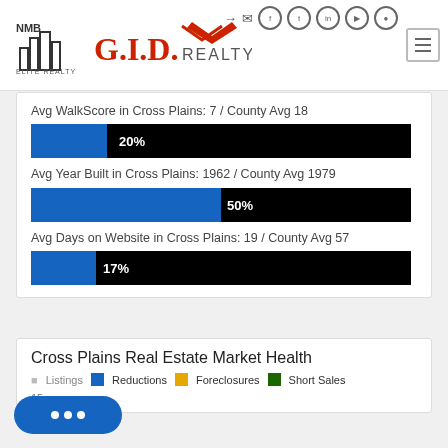[Figure (logo): NMB Elite Realty and GID Realty logos with navigation icons]
Avg WalkScore in Cross Plains: 7 / County Avg 18
[Figure (bar-chart): WalkScore bar]
Avg Year Built in Cross Plains: 1962 / County Avg 1979
[Figure (bar-chart): Year Built bar]
Avg Days on Website in Cross Plains: 19 / County Avg 57
[Figure (bar-chart): Days on Website bar]
Cross Plains Real Estate Market Health
Listings  Reductions  Foreclosures  Short Sales
15